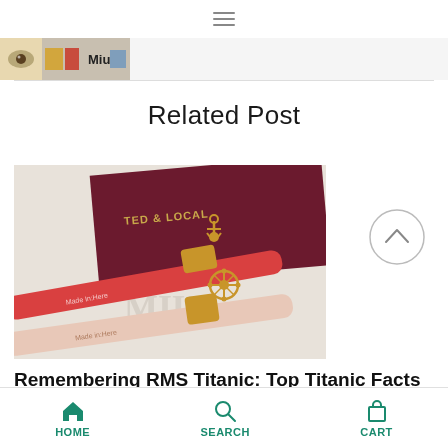Navigation bar with hamburger menu
[Figure (photo): Thumbnail strip showing a product/logo image with text 'Miu' visible]
[Figure (photo): Photo of two decorative pens/pencils with gold nautical charms (anchor and ship's wheel), lying on a dark burgundy card that reads 'TED & LOCAL', text on pens reads 'Made in Here']
Related Post
Remembering RMS Titanic: Top Titanic Facts & Gifts
HOME    SEARCH    CART